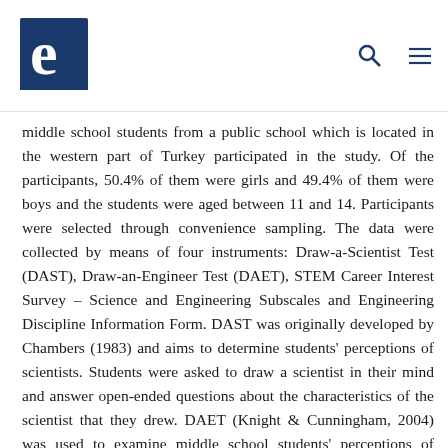e [logo] [search icon] [menu icon]
middle school students from a public school which is located in the western part of Turkey participated in the study. Of the participants, 50.4% of them were girls and 49.4% of them were boys and the students were aged between 11 and 14. Participants were selected through convenience sampling. The data were collected by means of four instruments: Draw-a-Scientist Test (DAST), Draw-an-Engineer Test (DAET), STEM Career Interest Survey – Science and Engineering Subscales and Engineering Discipline Information Form. DAST was originally developed by Chambers (1983) and aims to determine students' perceptions of scientists. Students were asked to draw a scientist in their mind and answer open-ended questions about the characteristics of the scientist that they drew. DAET (Knight & Cunningham, 2004) was used to examine middle school students' perceptions of engineers. It includes two main parts: students were asked to draw an